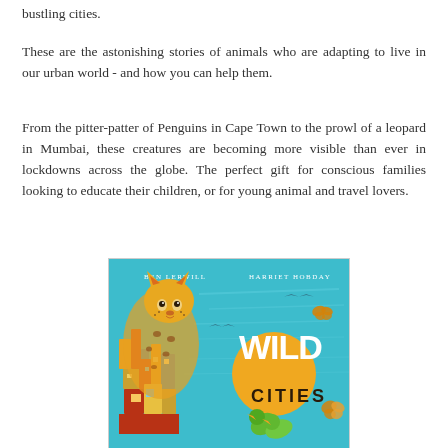bustling cities.
These are the astonishing stories of animals who are adapting to live in our urban world - and how you can help them.
From the pitter-patter of Penguins in Cape Town to the prowl of a leopard in Mumbai, these creatures are becoming more visible than ever in lockdowns across the globe. The perfect gift for conscious families looking to educate their children, or for young animal and travel lovers.
[Figure (illustration): Book cover of 'Wild Cities' by Ben Lerwill and Harriet Hobday. A colorful illustrated cover with a leopard made of city buildings on a teal/turquoise background, with the title 'WILD CITIES' in bold lettering and birds and butterflies around.]